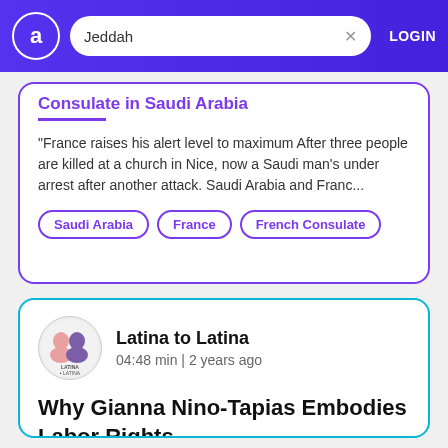Jeddah | LOGIN
Consulate in Saudi Arabia
"France raises his alert level to maximum After three people are killed at a church in Nice, now a Saudi man's under arrest after another attack. Saudi Arabia and Franc...
Saudi Arabia
France
French Consulate
Latina to Latina | 04:48 min | 2 years ago
Why Gianna Nino-Tapias Embodies Labor Rights